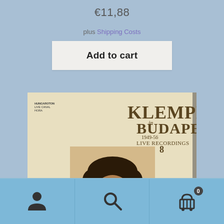€11,88
plus Shipping Costs
Add to cart
[Figure (photo): Album cover for 'Klemperer in Budapest 1949-56 Live Recordings 8' showing a black and white portrait photo of a man wearing glasses]
[Figure (other): Bottom navigation bar with user/account icon, search icon, and shopping cart icon with badge showing 0]